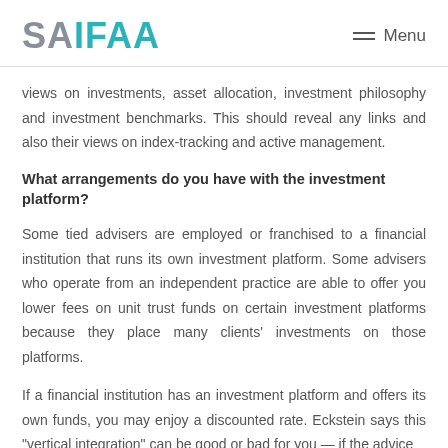SAIFAA  Menu
views on investments, asset allocation, investment philosophy and investment benchmarks. This should reveal any links and also their views on index-tracking and active management.
What arrangements do you have with the investment platform?
Some tied advisers are employed or franchised to a financial institution that runs its own investment platform. Some advisers who operate from an independent practice are able to offer you lower fees on unit trust funds on certain investment platforms because they place many clients' investments on those platforms.
If a financial institution has an investment platform and offers its own funds, you may enjoy a discounted rate. Eckstein says this "vertical integration" can be good or bad for you — if the advice